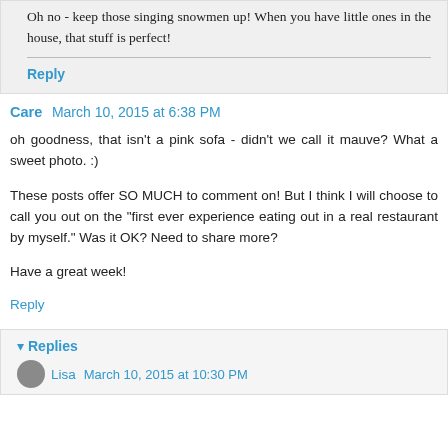Oh no - keep those singing snowmen up! When you have little ones in the house, that stuff is perfect!
Reply
Care  March 10, 2015 at 6:38 PM
oh goodness, that isn't a pink sofa - didn't we call it mauve? What a sweet photo. :)
These posts offer SO MUCH to comment on! But I think I will choose to call you out on the "first ever experience eating out in a real restaurant by myself." Was it OK? Need to share more?
Have a great week!
Reply
Replies
Lisa  March 10, 2015 at 10:30 PM